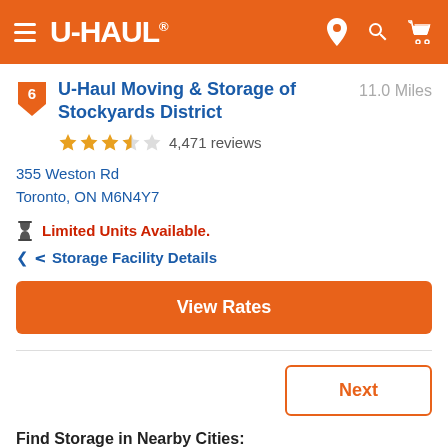U-HAUL
U-Haul Moving & Storage of Stockyards District
11.0 Miles
4,471 reviews
355 Weston Rd
Toronto, ON M6N4Y7
Limited Units Available.
Storage Facility Details
View Rates
Next
Find Storage in Nearby Cities: